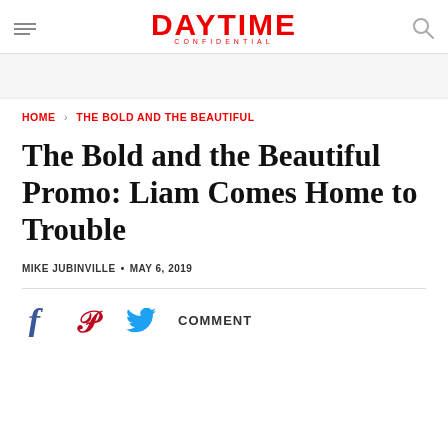DAYTIME CONFIDENTIAL
HOME › THE BOLD AND THE BEAUTIFUL
The Bold and the Beautiful Promo: Liam Comes Home to Trouble
MIKE JUBINVILLE · MAY 6, 2019
COMMENT